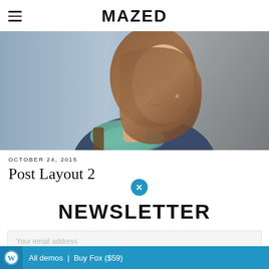MAZED
[Figure (photo): Close-up profile photo of a young woman with brown hair, wearing a teal scarf and blue jacket, looking upward against a blurred background.]
OCTOBER 24, 2015
Post Layout 2
NEWSLETTER
Your email address